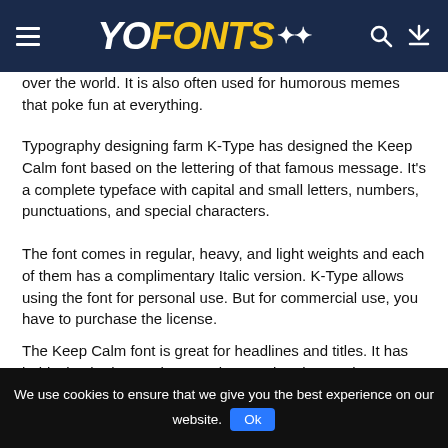YOFONTS
over the world. It is also often used for humorous memes that poke fun at everything.
Typography designing farm K-Type has designed the Keep Calm font based on the lettering of that famous message. It's a complete typeface with capital and small letters, numbers, punctuations, and special characters.
The font comes in regular, heavy, and light weights and each of them has a complimentary Italic version. K-Type allows using the font for personal use. But for commercial use, you have to purchase the license.
The Keep Calm font is great for headlines and titles. It has bold, circular letters that stand out and grab attention. Because the font comes in three weights, you can use any of them, depending on how much emphasis you want to put on your text. The regular weight is perfect for body copy, while the heavy and light weights are great for headlines and titles.
We use cookies to ensure that we give you the best experience on our website. Ok